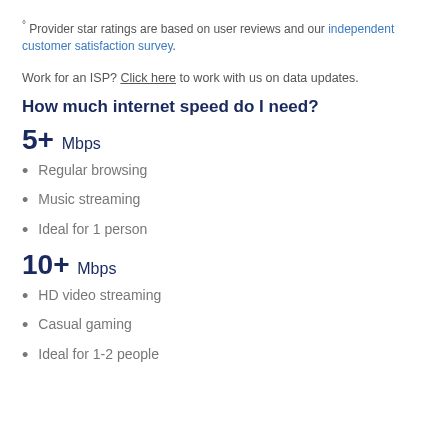° Provider star ratings are based on user reviews and our independent customer satisfaction survey.
Work for an ISP? Click here to work with us on data updates.
How much internet speed do I need?
5+ Mbps
Regular browsing
Music streaming
Ideal for 1 person
10+ Mbps
HD video streaming
Casual gaming
Ideal for 1-2 people